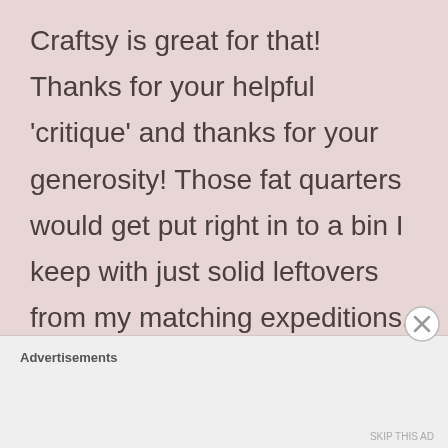Craftsy is great for that! Thanks for your helpful 'critique' and thanks for your generosity! Those fat quarters would get put right in to a bin I keep with just solid leftovers from my matching expeditions. I find in trying to match I often end up with a lighter shade of what I want just to get the right tone.
Advertisements